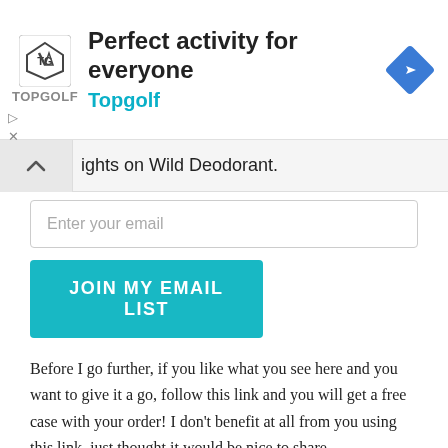[Figure (screenshot): Topgolf advertisement banner with logo, headline 'Perfect activity for everyone', brand name 'Topgolf', and a blue diamond navigation icon]
ights on Wild Deodorant.
Enter your email
JOIN MY EMAIL LIST
Before I go further, if you like what you see here and you want to give it a go, follow this link and you will get a free case with your order! I don't benefit at all from you using this link, just thought it would be nice to share.
Having had this experience, I have to admit I reverted pretty quickly to my old ways, using good old Dove